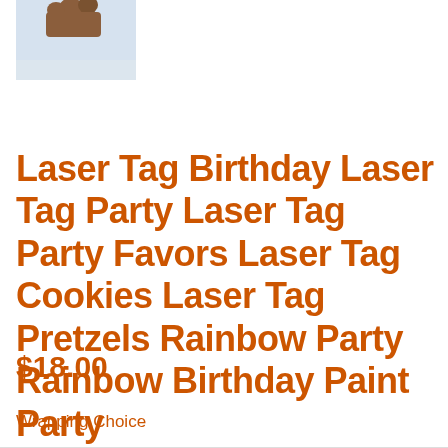[Figure (photo): Partial product photo showing hands holding an item, light blue background]
Laser Tag Birthday Laser Tag Party Laser Tag Party Favors Laser Tag Cookies Laser Tag Pretzels Rainbow Party Rainbow Birthday Paint Party
$18.00
Wrapping Choice